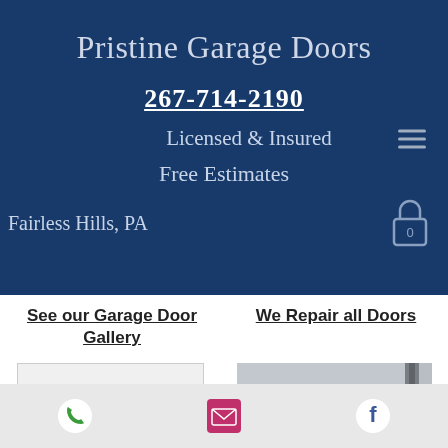Pristine Garage Doors
267-714-2190
Licensed & Insured
Free Estimates
Fairless Hills, PA
See our Garage Door Gallery
We Repair all Doors
[Figure (photo): White/blank placeholder image for garage door gallery]
[Figure (photo): Close-up photo of a garage door panel with hardware/tracks visible]
Phone icon | Email icon | Facebook icon